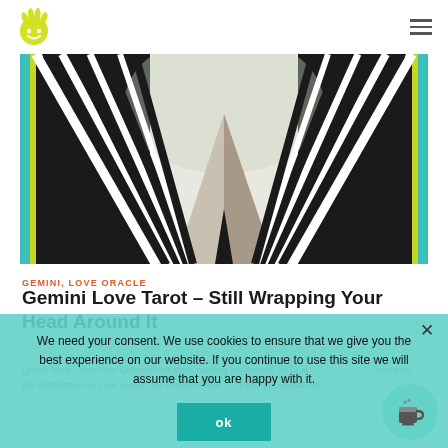[Figure (illustration): Abstract black and white geometric art showing symmetrical radiating lines forming a tent or triangle shape, with teal/yellow border accents]
GEMINI, LOVE ORACLE
Gemini Love Tarot – Still Wrapping Your Head Around It
Quick View: Your free Gemini love tarot reading for August 2022 at ...  Energise the abundance on your vessel, the oracle below ... Read m... donation!
We need your consent. We use cookies to ensure that we give you the best experience on our website. If you continue to use this site we will assume that you are happy with it.